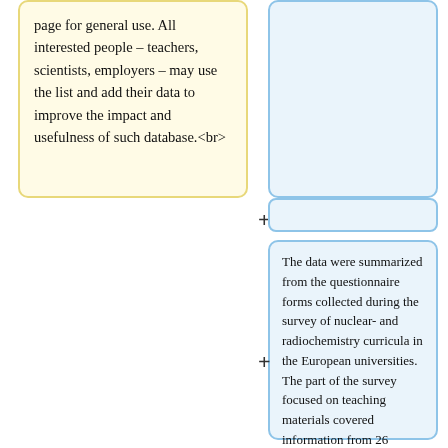page for general use. All interested people – teachers, scientists, employers – may use the list and add their data to improve the impact and usefulness of such database.<br>
The data were summarized from the questionnaire forms collected during the survey of nuclear- and radiochemistry curricula in the European universities. The part of the survey focused on teaching materials covered information from 26 universities in 19 countries.